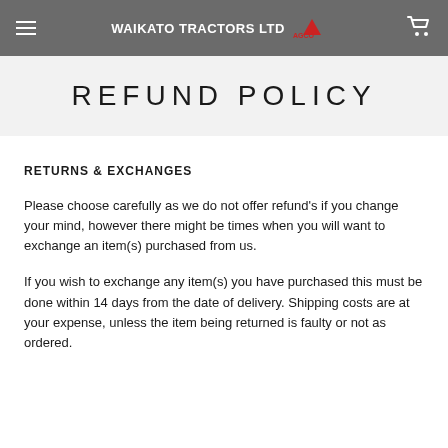WAIKATO TRACTORS LTD
REFUND POLICY
RETURNS & EXCHANGES
Please choose carefully as we do not offer refund's if you change your mind, however there might be times when you will want to exchange an item(s) purchased from us.
If you wish to exchange any item(s) you have purchased this must be done within 14 days from the date of delivery. Shipping costs are at your expense, unless the item being returned is faulty or not as ordered.